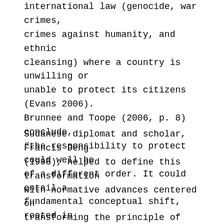international law (genocide, war crimes, crimes against humanity, and ethnic cleansing) where a country is unwilling or unable to protect its citizens (Evans 2006). Brunnee and Toope (2006, p. 8) conclude, “the responsibility to protect could well be of a different order. It could entail a fundamental conceptual shift, rooted in prior developments, but going much further.…”
Sudanese diplomat and scholar, Francis Deng (1996), helped to define this transformation with normative advances centered on transforming the principle of sovereignty as non-interference to “sovereignty as responsibility.”